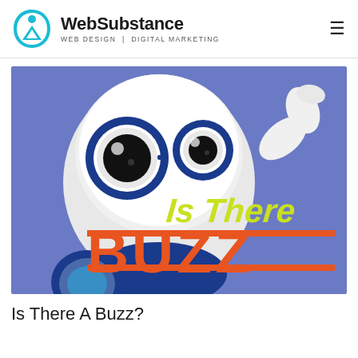WebSubstance — WEB DESIGN | DIGITAL MARKETING
[Figure (illustration): A 3D cartoon robot with large blue goggle-eyes on a purple background, with bold text 'Is There BUZZ?' in yellow-green and orange lettering]
Is There A Buzz?